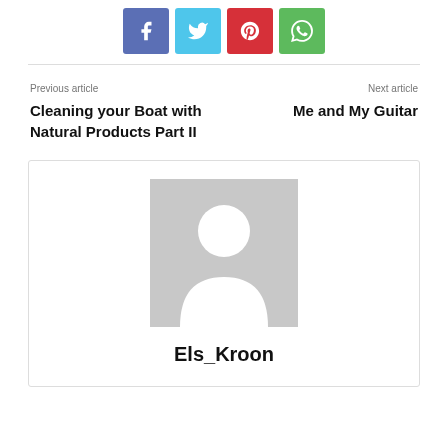[Figure (other): Social share buttons: Facebook (blue-purple), Twitter (cyan), Pinterest (red), WhatsApp (green)]
Previous article
Cleaning your Boat with Natural Products Part II
Next article
Me and My Guitar
[Figure (illustration): Author avatar placeholder image (grey silhouette of a person)]
Els_Kroon